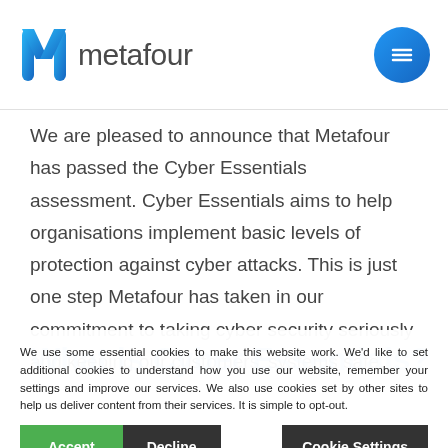metafour
We are pleased to announce that Metafour has passed the Cyber Essentials assessment. Cyber Essentials aims to help organisations implement basic levels of protection against cyber attacks. This is just one step Metafour has taken in our commitment to taking cyber security seriously and keeping our customers' systems safe.
What is Cyber Essentials?
We use some essential cookies to make this website work. We'd like to set additional cookies to understand how you use our website, remember your settings and improve our services. We also use cookies set by other sites to help us deliver content from their services. It is simple to opt-out.